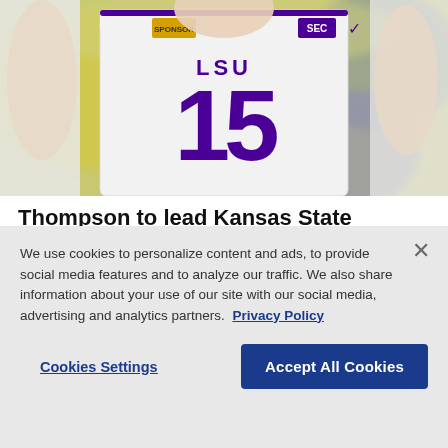[Figure (photo): LSU football player wearing white jersey #15 with arms raised, SEC and Nike logos visible, blurred stadium background with yellow/green colors]
Thompson to lead Kansas State against LSU in Texas Bowl
By Kristie Rieken Jan. 03, 2022 04:31 PM EST
We use cookies to personalize content and ads, to provide social media features and to analyze our traffic. We also share information about your use of our site with our social media, advertising and analytics partners.  Privacy Policy
Cookies Settings
Accept All Cookies